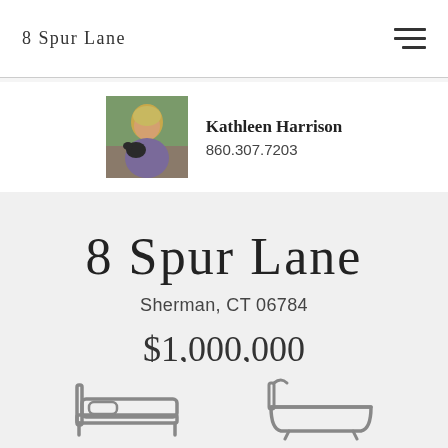8 Spur Lane
[Figure (photo): Portrait photo of Kathleen Harrison holding a small black dog outdoors]
Kathleen Harrison
860.307.7203
8 Spur Lane
Sherman, CT 06784
$1,000,000
[Figure (illustration): Bed icon and bathtub icon representing bedroom and bathroom amenities]